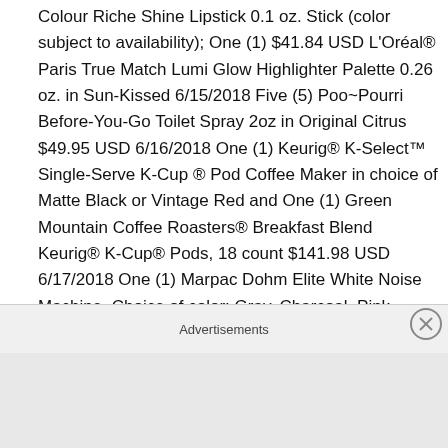Colour Riche Shine Lipstick 0.1 oz. Stick (color subject to availability); One (1) $41.84 USD L'Oréal® Paris True Match Lumi Glow Highlighter Palette 0.26 oz. in Sun-Kissed 6/15/2018 Five (5) Poo~Pourri Before-You-Go Toilet Spray 2oz in Original Citrus $49.95 USD 6/16/2018 One (1) Keurig® K-Select™ Single-Serve K-Cup ® Pod Coffee Maker in choice of Matte Black or Vintage Red and One (1) Green Mountain Coffee Roasters® Breakfast Blend Keurig® K-Cup® Pods, 18 count $141.98 USD 6/17/2018 One (1) Marpac Dohm Elite White Noise Machine. Choice of color: Gray, Charcoal, Pink, Green, or Blue. $49.99 USD 6/18/2018 One (1) Nautica Signal Stripe Comforter Set
Advertisements